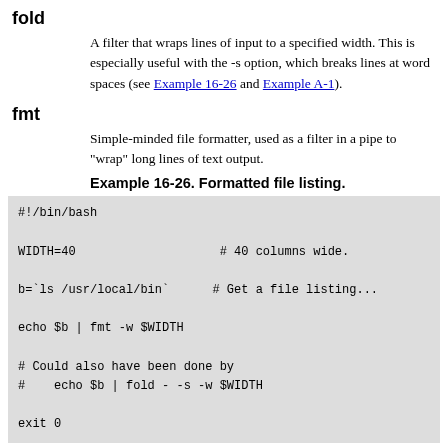fold
A filter that wraps lines of input to a specified width. This is especially useful with the -s option, which breaks lines at word spaces (see Example 16-26 and Example A-1).
fmt
Simple-minded file formatter, used as a filter in a pipe to "wrap" long lines of text output.
Example 16-26. Formatted file listing.
#!/bin/bash

WIDTH=40                    # 40 columns wide.

b=`ls /usr/local/bin`      # Get a file listing...

echo $b | fmt -w $WIDTH

# Could also have been done by
#    echo $b | fold - -s -w $WIDTH

exit 0
See also Example 16-5.